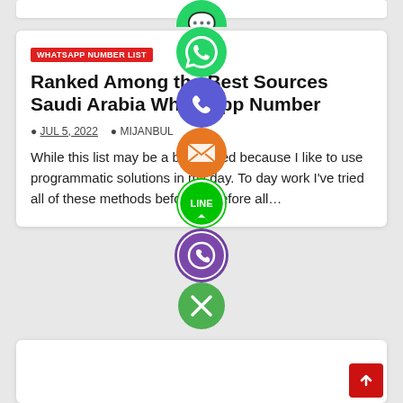[Figure (infographic): Vertical social sharing bar with icons: WhatsApp (green), phone/call (blue-purple), email (orange), LINE (green), Viber (purple), and a close/X button (green)]
WHATSAPP NUMBER LIST
Ranked Among the Best Sources Saudi Arabia WhatsApp Number
JUL 5, 2022   MIJANBUL
While this list may be a bit skewed because I like to use programmatic solutions in my day. To day work I've tried all of these methods before therefore all…